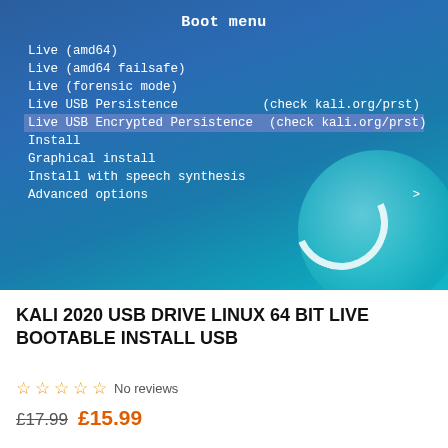[Figure (screenshot): Kali Linux boot menu screenshot showing options: Live (amd64), Live (amd64 failsafe), Live (forensic mode), Live USB Persistence (check kali.org/prst), Live USB Encrypted Persistence (check kali.org/prst) - highlighted, Install, Graphical install, Install with speech synthesis, Advanced options]
KALI 2020 USB DRIVE LINUX 64 BIT LIVE BOOTABLE INSTALL USB
☆☆☆☆☆ No reviews
£17.99 £15.99